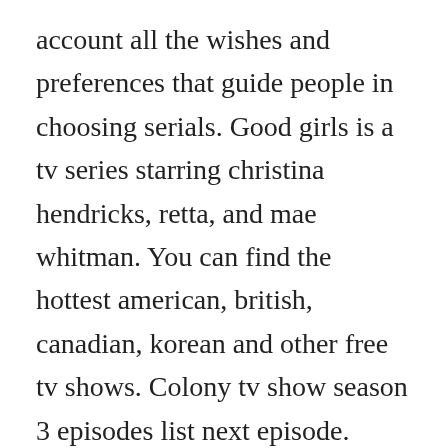account all the wishes and preferences that guide people in choosing serials. Good girls is a tv series starring christina hendricks, retta, and mae whitman. You can find the hottest american, british, canadian, korean and other free tv shows. Colony tv show season 3 episodes list next episode. Download full episodes popular american and british tv series for free on superload. Hunt for the bone collector season 1 5 episode high maintenance season 4 2 episode hawaii five0 season 10. Eztv torrent download tv series, tv shows